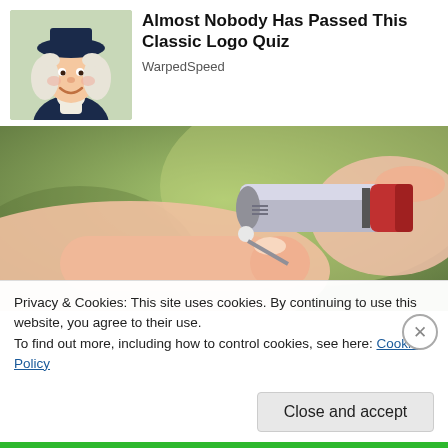[Figure (illustration): Quaker Oats man mascot illustration - man in colonial clothing with white wig and black hat, smiling]
Almost Nobody Has Passed This Classic Logo Quiz
WarpedSpeed
[Figure (photo): Close-up photo of a hand holding a lancet/pen device touching a fingertip, green blurred background]
Privacy & Cookies: This site uses cookies. By continuing to use this website, you agree to their use.
To find out more, including how to control cookies, see here: Cookie Policy
Close and accept